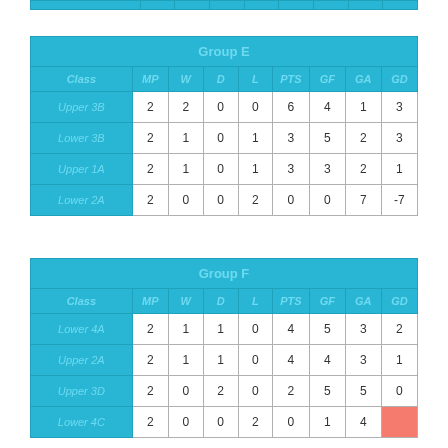| Class | MP | W | D | L | PTS | GF | GA | GD |
| --- | --- | --- | --- | --- | --- | --- | --- | --- |
| Upper 3B | 2 | 2 | 0 | 0 | 6 | 4 | 1 | 3 |
| Lower 3B | 2 | 1 | 0 | 1 | 3 | 5 | 2 | 3 |
| Upper 1A | 2 | 1 | 0 | 1 | 3 | 3 | 2 | 1 |
| Lower 2A | 2 | 0 | 0 | 2 | 0 | 0 | 7 | -7 |
| Class | MP | W | D | L | PTS | GF | GA | GD |
| --- | --- | --- | --- | --- | --- | --- | --- | --- |
| Lower 4A | 2 | 1 | 1 | 0 | 4 | 5 | 3 | 2 |
| Upper 2A | 2 | 1 | 1 | 0 | 4 | 4 | 3 | 1 |
| Upper 3D | 2 | 0 | 2 | 0 | 2 | 5 | 5 | 0 |
| Lower 4C | 2 | 0 | 0 | 2 | 0 | 1 | 4 |  |